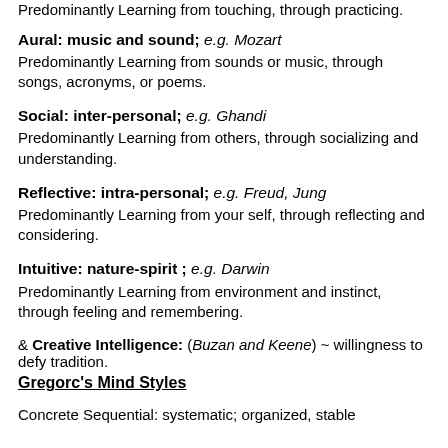Predominantly Learning from touching, through practicing.
Aural: music and sound; e.g. Mozart
Predominantly Learning from sounds or music, through songs, acronyms, or poems.
Social: inter-personal; e.g. Ghandi
Predominantly Learning from others, through socializing and understanding.
Reflective: intra-personal; e.g. Freud, Jung
Predominantly Learning from your self, through reflecting and considering.
Intuitive: nature-spirit ; e.g. Darwin
Predominantly Learning from environment and instinct, through feeling and remembering.
& Creative Intelligence: (Buzan and Keene) ~ willingness to defy tradition.
Gregorc's Mind Styles
Concrete Sequential: systematic; organized, stable